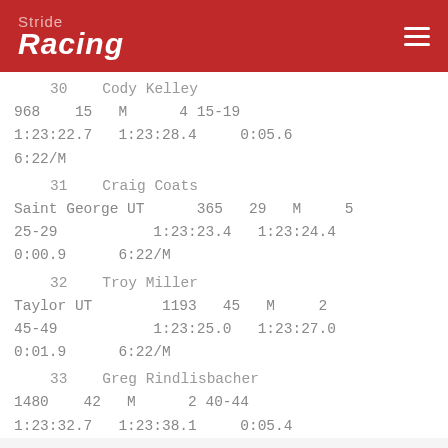Stride Racing
30   Cody Kelley
968   15   M   4 15-19
1:23:22.7   1:23:28.4   0:05.6
6:22/M
31   Craig Coats
Saint George UT   365   29   M   5
25-29   1:23:23.4   1:23:24.4
0:00.9   6:22/M
32   Troy Miller
Taylor UT   1193   45   M   2
45-49   1:23:25.0   1:23:27.0
0:01.9   6:22/M
33   Greg Rindlisbacher
1480   42   M   2 40-44
1:23:32.7   1:23:38.1   0:05.4